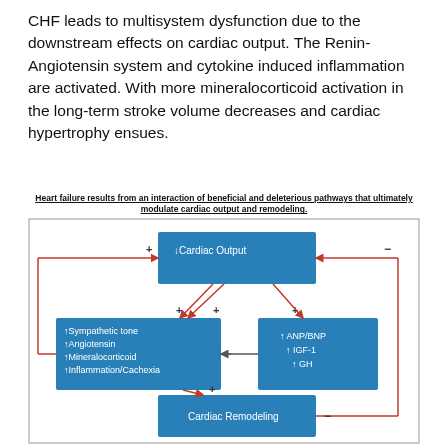CHF leads to multisystem dysfunction due to the downstream effects on cardiac output. The Renin-Angiotensin system and cytokine induced inflammation are activated. With more mineralocorticoid activation in the long-term stroke volume decreases and cardiac hypertrophy ensues.
Heart failure results from an interaction of beneficial and deleterious pathways that ultimately modulate cardiac output and remodeling.
[Figure (flowchart): Flowchart showing interactions between Cardiac Output, Sympathetic tone/Angiotensin/Mineralocorticoid/Inflammation-Cachexia, ANP/BNP/IGF-1/GH, and Cardiac Remodeling boxes. Red arrows indicate positive (+) feedback loops, yellow/gold arrows indicate negative (-) feedback. Cardiac Output decreases, activating sympathetic and hormonal pathways that lead to Cardiac Remodeling.]